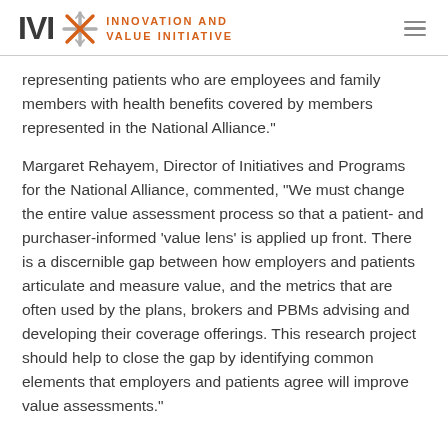IVI — Innovation and Value Initiative
representing patients who are employees and family members with health benefits covered by members represented in the National Alliance."
Margaret Rehayem, Director of Initiatives and Programs for the National Alliance, commented, "We must change the entire value assessment process so that a patient- and purchaser-informed 'value lens' is applied up front. There is a discernible gap between how employers and patients articulate and measure value, and the metrics that are often used by the plans, brokers and PBMs advising and developing their coverage offerings. This research project should help to close the gap by identifying common elements that employers and patients agree will improve value assessments."